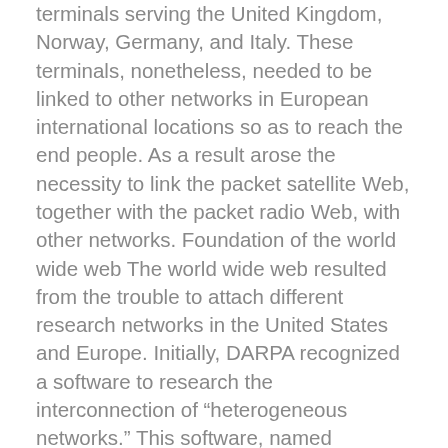terminals serving the United Kingdom, Norway, Germany, and Italy. These terminals, nonetheless, needed to be linked to other networks in European international locations so as to reach the end people. As a result arose the necessity to link the packet satellite Web, together with the packet radio Web, with other networks. Foundation of the world wide web The world wide web resulted from the trouble to attach different research networks in the United States and Europe. Initially, DARPA recognized a software to research the interconnection of “heterogeneous networks.” This software, named Internetting, was depending on the freshly launched idea of open up architecture networking, by which networks with described normal interfaces could well be interconnected by “gateways.” A Operating demonstration of the idea was prepared. To ensure that the idea to work, a different protocol needed to be built and created; in truth, a program architecture was also needed. In 1974 Vinton Cerf, then